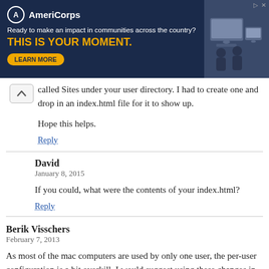[Figure (other): AmeriCorps advertisement banner with dark blue background. Logo shows a circle with 'A' and 'AmeriCorps' brand name. Tagline: 'Ready to make an impact in communities across the country?' Headline in gold: 'THIS IS YOUR MOMENT.' with a 'LEARN MORE' button. Right side shows a photo of people at computers.]
called Sites under your user directory. I had to create one and drop in an index.html file for it to show up.
Hope this helps.
Reply
David
January 8, 2015
If you could, what were the contents of your index.html?
Reply
Berik Visschers
February 7, 2013
As most of the mac computers are used by only one user, the per-user configuration is a bit overkill. I would suggest using these changes in the http.conf file: